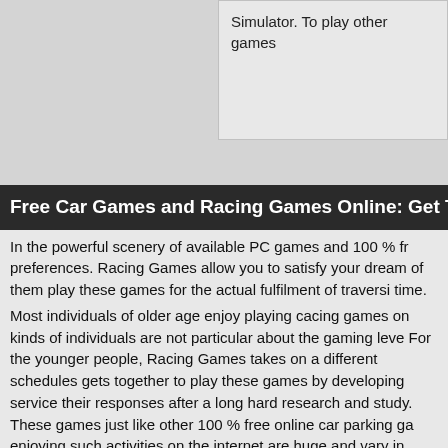Simulator. To play other games
Free Car Games and Racing Games Online: Get Thrill a
In the powerful scenery of available PC games and 100 % fr preferences. Racing Games allow you to satisfy your dream of them play these games for the actual fulfilment of traversi time.
Most individuals of older age enjoy playing cacing games on kinds of individuals are not particular about the gaming leve For the younger people, Racing Games takes on a different schedules gets together to play these games by developing service their responses after a long hard research and study. These games just like other 100 % free online car parking ga enjoying such activities on the internet are huge and vary in achievements and record. Thus increasing number of indivio their ratings and gaming records on any particular game